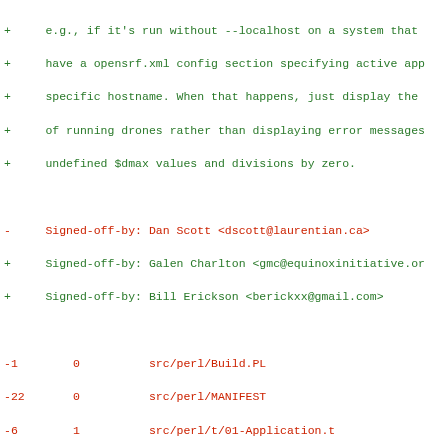Diff output showing git commit changes with added/removed lines in green/red, including sign-off lines, file stats, commit hashes, author/date info, and commit message lines.